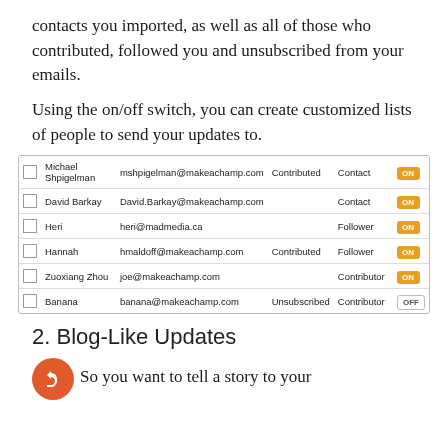contacts you imported, as well as all of those who contributed, followed you and unsubscribed from your emails.
Using the on/off switch, you can create customized lists of people to send your updates to.
|  | Name | Email | Status | Role | Toggle |
| --- | --- | --- | --- | --- | --- |
|  | Michael Shpigelman | mshpigelman@makeachamp.com | Contributed | Contact | ON |
|  | David Barkay | David.Barkay@makeachamp.com |  | Contact | ON |
|  | Heri | heri@madmedia.ca |  | Follower | ON |
|  | Hannah | hmaldoff@makeachamp.com | Contributed | Follower | ON |
|  | Zuoxiang Zhou | joe@makeachamp.com |  | Contributor | ON |
|  | Banana | banana@makeachamp.com | Unsubscribed | Contributor | OFF |
2. Blog-Like Updates
So you want to tell a story to your